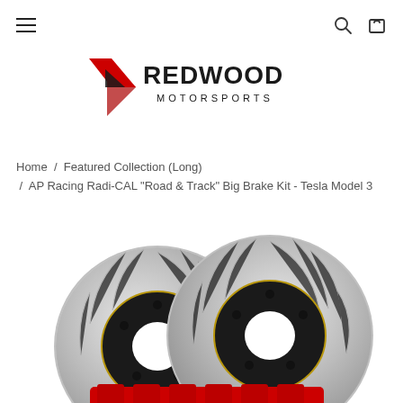Navigation bar with hamburger menu, search, and cart icons
[Figure (logo): Redwood Motorsports logo with red stylized R arrow and bold REDWOOD MOTORSPORTS text]
Home / Featured Collection (Long) / AP Racing Radi-CAL "Road & Track" Big Brake Kit - Tesla Model 3
[Figure (photo): Two large slotted brake rotors with red calipers from AP Racing Radi-CAL Big Brake Kit for Tesla Model 3]